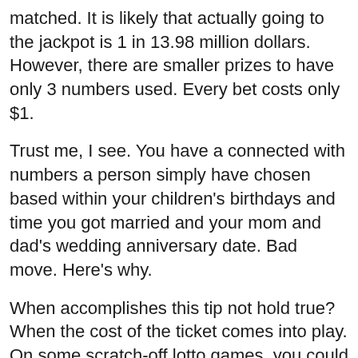matched. It is likely that actually going to the jackpot is 1 in 13.98 million dollars. However, there are smaller prizes to have only 3 numbers used. Every bet costs only $1.
Trust me, I see. You have a connected with numbers a person simply have chosen based within your children's birthdays and time you got married and your mom and dad's wedding anniversary date. Bad move. Here's why.
When accomplishes this tip not hold true? When the cost of the ticket comes into play. On some scratch-off lotto games, you could pay more to get well odds. For example, let's imagine there are two scratch-off games which the exact same prize of $500,000. Amongst the games costs $5 to play and one other one costs $10 perform. The game that